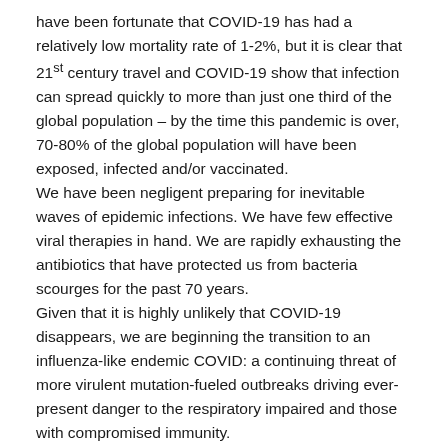have been fortunate that COVID-19 has had a relatively low mortality rate of 1-2%, but it is clear that 21st century travel and COVID-19 show that infection can spread quickly to more than just one third of the global population – by the time this pandemic is over, 70-80% of the global population will have been exposed, infected and/or vaccinated.
We have been negligent preparing for inevitable waves of epidemic infections. We have few effective viral therapies in hand. We are rapidly exhausting the antibiotics that have protected us from bacteria scourges for the past 70 years.
Given that it is highly unlikely that COVID-19 disappears, we are beginning the transition to an influenza-like endemic COVID: a continuing threat of more virulent mutation-fueled outbreaks driving ever-present danger to the respiratory impaired and those with compromised immunity.
The last 50 years have taught us that animal reservoir pathogens can mutate and spread without warning — we cannot allow